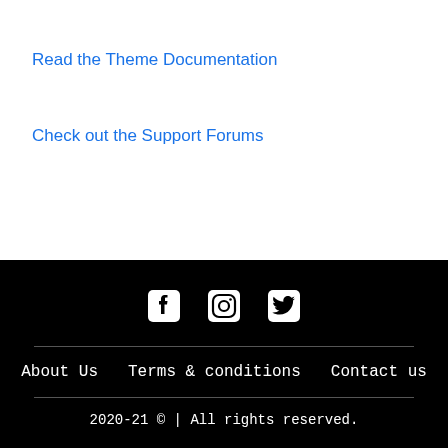Read the Theme Documentation
Check out the Support Forums
Social icons: Facebook, Instagram, Twitter | About Us | Terms & conditions | Contact us | 2020-21 © | All rights reserved.